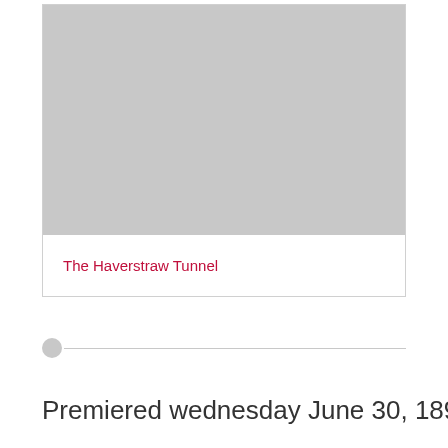[Figure (photo): Gray placeholder image area representing a photo or illustration for The Haverstraw Tunnel]
The Haverstraw Tunnel
Premiered wednesday June 30, 1897